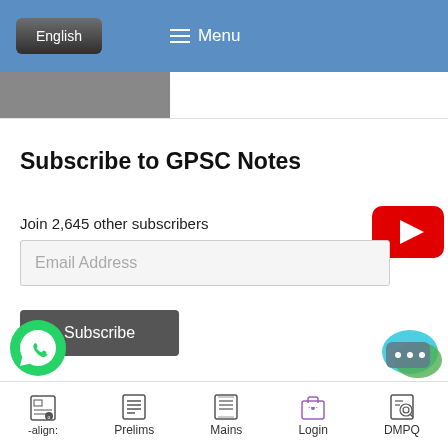English  ☰ Menu
Subscribe to GPSC Notes
Join 2,645 other subscribers
Email Address
Subscribe
-align:   Prelims   Mains   Login   DMPQ